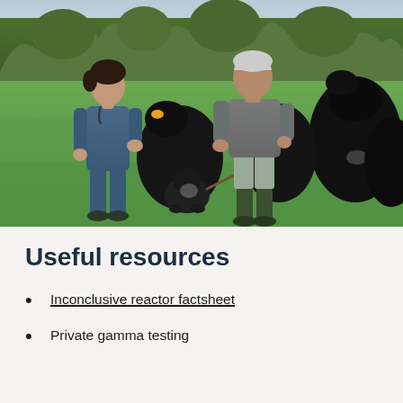[Figure (photo): A female veterinarian in blue overalls talking with an older male farmer in a field. Black cattle are visible behind them, and a black and white spaniel dog sits between the two people. Green grass and trees are visible in the background.]
Useful resources
Inconclusive reactor factsheet
Private gamma testing